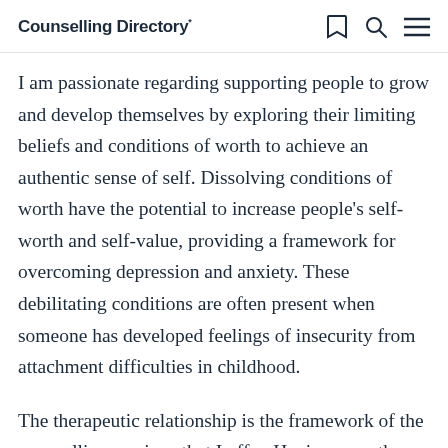Counselling Directory*
I am passionate regarding supporting people to grow and develop themselves by exploring their limiting beliefs and conditions of worth to achieve an authentic sense of self. Dissolving conditions of worth have the potential to increase people's self-worth and self-value, providing a framework for overcoming depression and anxiety. These debilitating conditions are often present when someone has developed feelings of insecurity from attachment difficulties in childhood.
The therapeutic relationship is the framework of the counselling sessions that I offer. Having empathy,